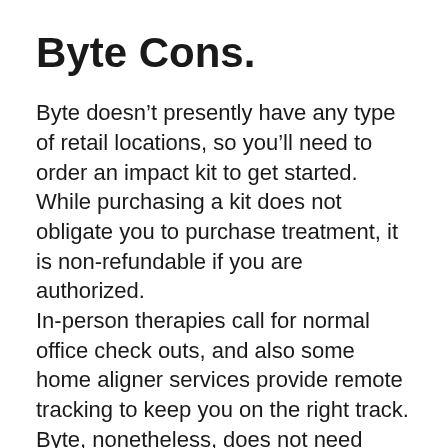Byte Cons.
Byte doesn't presently have any type of retail locations, so you'll need to order an impact kit to get started. While purchasing a kit does not obligate you to purchase treatment, it is non-refundable if you are authorized.
In-person therapies call for normal office check outs, and also some home aligner services provide remote tracking to keep you on the right track. Byte, nonetheless, does not need either, so you won't have a specialist's eyes on your teeth every few weeks.
FAQ